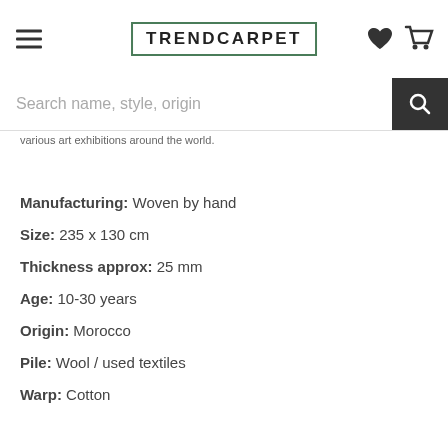TRENDCARPET
Search name, style, origin
various art exhibitions around the world.
Manufacturing: Woven by hand
Size: 235 x 130 cm
Thickness approx: 25 mm
Age: 10-30 years
Origin: Morocco
Pile: Wool / used textiles
Warp: Cotton